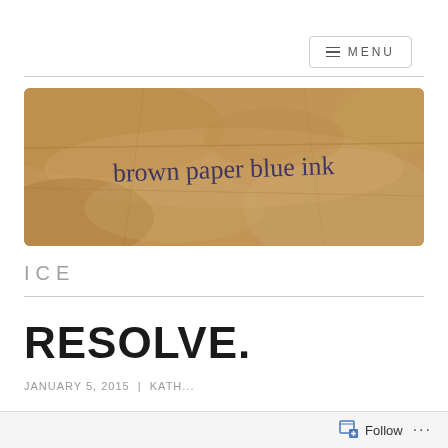MENU
[Figure (photo): Photo of crumpled brown paper with handwritten text in blue ink reading 'brown paper blue ink']
ICE
RESOLVE.
JANUARY 5, 2015 | KATH...
Follow